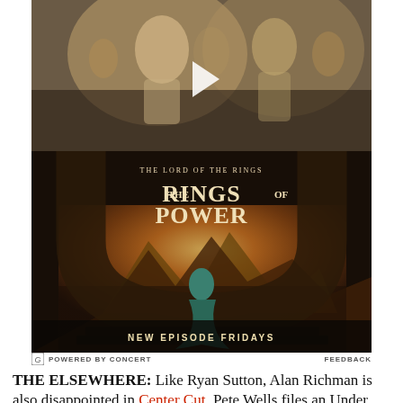[Figure (photo): Video thumbnail showing fantasy TV show scene with a blonde woman in white looking upward, and a man behind her, both in period costume. A white play button triangle is overlaid in the center.]
[Figure (photo): Advertisement for 'The Lord of the Rings: The Rings of Power' on Amazon Prime Video. Shows a woman in a teal/green flowing gown standing on a terrace overlooking a fantasy city with mountains. Text reads 'THE LORD OF THE RINGS / THE RINGS OF POWER / NEW EPISODE FRIDAYS'.]
POWERED BY CONCERT    FEEDBACK
THE ELSEWHERE: Like Ryan Sutton, Alan Richman is also disappointed in Center Cut. Pete Wells files an Under